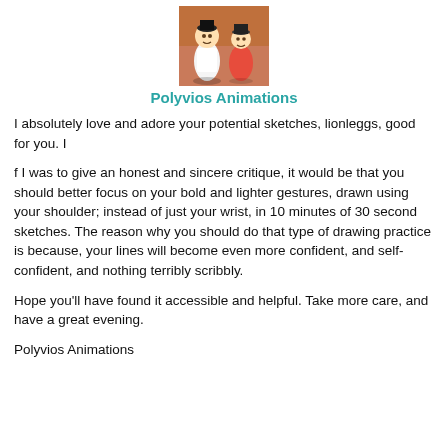[Figure (illustration): Small cartoon illustration of two animated characters, appearing to be from a Disney or similar animation style, one in white and one in orange/red outfit, against a building background.]
Polyvios Animations
I absolutely love and adore your potential sketches, lionleggs, good for you. I
f I was to give an honest and sincere critique, it would be that you should better focus on your bold and lighter gestures, drawn using your shoulder; instead of just your wrist, in 10 minutes of 30 second sketches. The reason why you should do that type of drawing practice is because, your lines will become even more confident, and self-confident, and nothing terribly scribbly.
Hope you'll have found it accessible and helpful. Take more care, and have a great evening.
Polyvios Animations